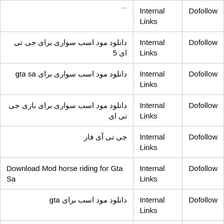|  | Internal Links | Dofollow |
| --- | --- | --- |
| دانلود مود اسب سواری برای جی تی ای 5 | Internal Links | Dofollow |
| دانلود مود اسب سواری برای gta sa | Internal Links | Dofollow |
| دانلود مود اسب سواری برای بازی جی تی ای | Internal Links | Dofollow |
| جی تی آی فاز | Internal Links | Dofollow |
| Download Mod horse riding for Gta Sa | Internal Links | Dofollow |
| دانلود مود اسب برای gta | Internal Links | Dofollow |
| gta sa برای مد اسب سواری | Internal Links | Dofollow |
| [cut off] | Internal Links | Dofollow |